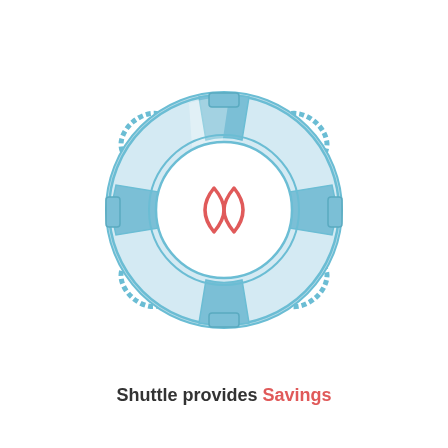[Figure (illustration): A life preserver ring (lifebuoy) illustrated in light blue tones with rope loops at four corners and a blue decorative band. In the center of the ring is a red leaf/flame logo (resembling the Airbnb logo). The ring has alternating light and medium blue sections with a white inner circle containing the red emblem.]
Shuttle provides Savings